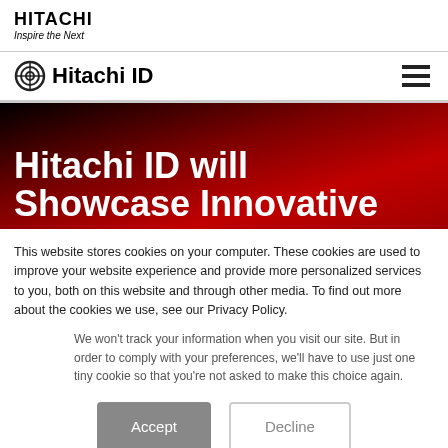HITACHI Inspire the Next
[Figure (logo): Hitachi ID logo with circular target icon and text 'Hitachi ID']
[Figure (illustration): Hero banner with dark red gradient background and large white text 'Hitachi ID will Showcase Innovative']
This website stores cookies on your computer. These cookies are used to improve your website experience and provide more personalized services to you, both on this website and through other media. To find out more about the cookies we use, see our Privacy Policy.
We won't track your information when you visit our site. But in order to comply with your preferences, we'll have to use just one tiny cookie so that you're not asked to make this choice again.
Accept | Decline